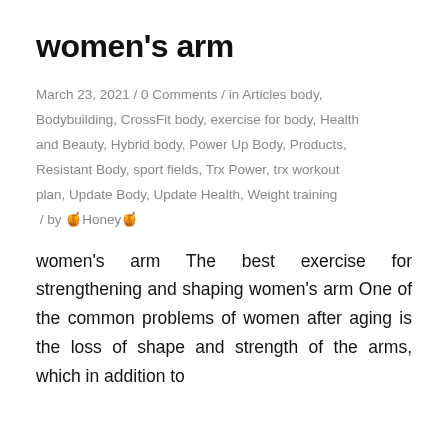women's arm
March 23, 2021 / 0 Comments / in Articles body, Bodybuilding, CrossFit body, exercise for body, Health and Beauty, Hybrid body, Power Up Body, Products, Resistant Body, sport fields, Trx Power, trx workout plan, Update Body, Update Health, Weight training / by 🍯Honey🍯
women's arm The best exercise for strengthening and shaping women's arm One of the common problems of women after aging is the loss of shape and strength of the arms, which in addition to